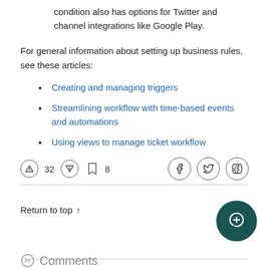condition also has options for Twitter and channel integrations like Google Play.
For general information about setting up business rules, see these articles:
Creating and managing triggers
Streamlining workflow with time-based events and automations
Using views to manage ticket workflow
↑ 32 ⓘ 🔖 8
Return to top ↑
Comments